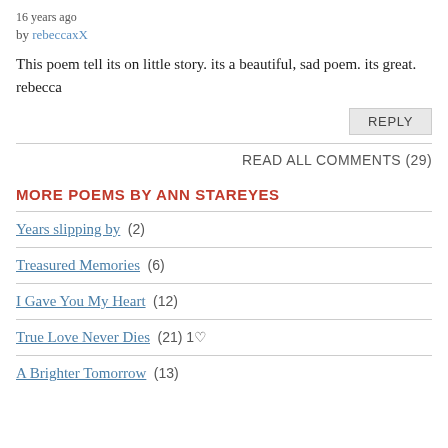16 years ago
by rebeccaxX
This poem tell its on little story. its a beautiful, sad poem. its great. rebecca
REPLY
READ ALL COMMENTS (29)
MORE POEMS BY ANN STAREYES
Years slipping by  (2)
Treasured Memories  (6)
I Gave You My Heart  (12)
True Love Never Dies  (21) 1♡
A Brighter Tomorrow  (13)